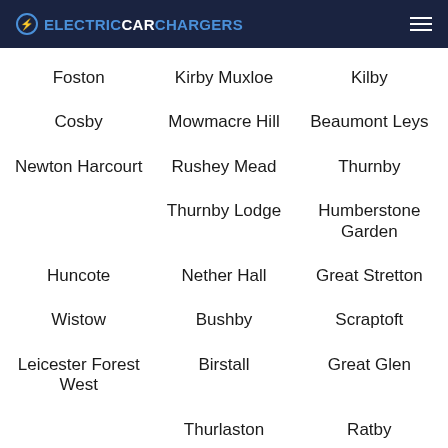ELECTRICCARCHARGERS
Foston
Kirby Muxloe
Kilby
Cosby
Mowmacre Hill
Beaumont Leys
Newton Harcourt
Rushey Mead
Thurnby
Thurnby Lodge
Humberstone Garden
Huncote
Nether Hall
Great Stretton
Wistow
Bushby
Scraptoft
Leicester Forest West
Birstall
Great Glen
Thurlaston
Ratby